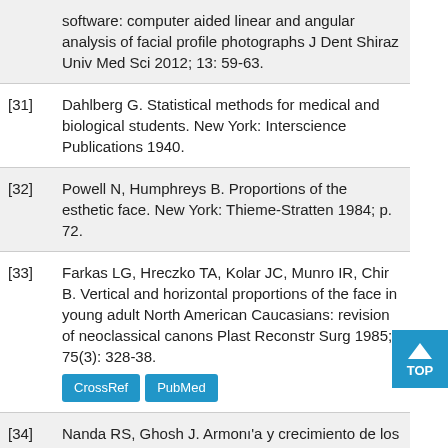software: computer aided linear and angular analysis of facial profile photographs J Dent Shiraz Univ Med Sci 2012; 13: 59-63.
[31] Dahlberg G. Statistical methods for medical and biological students. New York: Interscience Publications 1940.
[32] Powell N, Humphreys B. Proportions of the esthetic face. New York: Thieme-Stratten 1984; p. 72.
[33] Farkas LG, Hreczko TA, Kolar JC, Munro IR, Chir B. Vertical and horizontal proportions of the face in young adult North American Caucasians: revision of neoclassical canons Plast Reconstr Surg 1985; 75(3): 328-38. [CrossRef] [PubMed]
[34] Nanda RS, Ghosh J. Armonı'a y crecimiento de los tejidos blandos faciales en eltratamiento ortodo'ncico Semin Orthod 1995; 1: 3-17. [PubMed]
[35] Malkoç S, Demir A, Uysal T, Canbuldu N. Angular photogrammetric analysis of the...